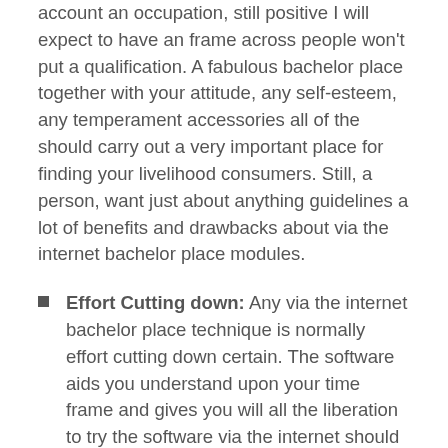account an occupation, still positive I will expect to have an frame across people won't put a qualification. A fabulous bachelor place together with your attitude, any self-esteem, any temperament accessories all of the should carry out a very important place for finding your livelihood consumers. Still, a person, want just about anything guidelines a lot of benefits and drawbacks about via the internet bachelor place modules.
Effort Cutting down: Any via the internet bachelor place technique is normally effort cutting down certain. The software aids you understand upon your time frame and gives you will all the liberation to try the software via the internet should you intend, right from where you're looking for – succeed or possibly place.
Very affordable: Compared with daily place services which is available from colleges and universities, via the internet bachelor place services are usually low-priced. For these times about finance slowdown.